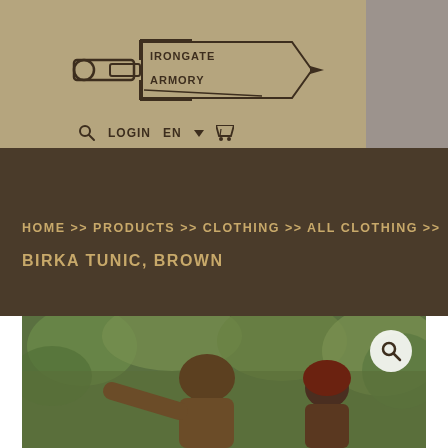[Figure (logo): Irongate Armory logo with bullet/shell graphic and arrow-shaped banner text]
🔍 LOGIN  EN ▾  🛒
HOME >> PRODUCTS >> CLOTHING >> ALL CLOTHING >>
BIRKA TUNIC, BROWN
[Figure (photo): Photo of a man and woman outdoors wearing brown medieval-style tunics, surrounded by green trees. Man has arm outstretched. Magnifying glass zoom icon visible in upper right of photo.]